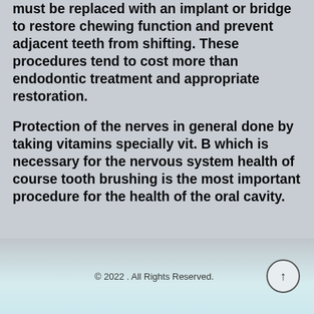must be replaced with an implant or bridge to restore chewing function and prevent adjacent teeth from shifting. These procedures tend to cost more than endodontic treatment and appropriate restoration.
Protection of the nerves in general done by taking vitamins specially vit. B which is necessary for the nervous system health of course tooth brushing is the most important procedure for the health of the oral cavity.
© 2022 . All Rights Reserved.